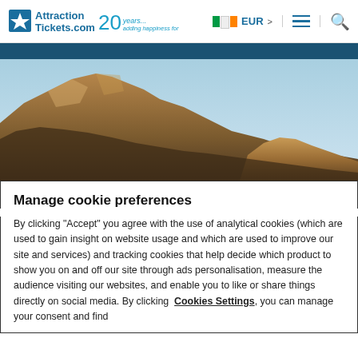AttractionTickets.com 20 years — EUR > [menu] [search]
[Figure (photo): Hero image of rocky mountain canyon landscape under blue sky]
Manage cookie preferences
By clicking "Accept" you agree with the use of analytical cookies (which are used to gain insight on website usage and which are used to improve our site and services) and tracking cookies that help decide which product to show you on and off our site through ads personalisation, measure the audience visiting our websites, and enable you to like or share things directly on social media. By clicking Cookies Settings, you can manage your consent and find